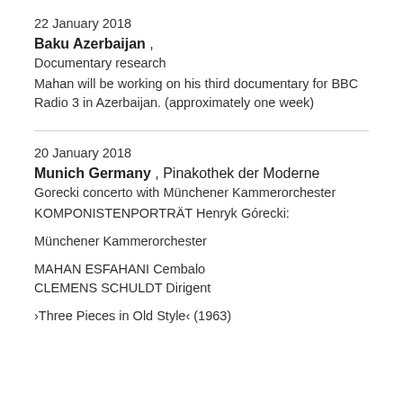22 January 2018
Baku Azerbaijan ,
Documentary research
Mahan will be working on his third documentary for BBC Radio 3 in Azerbaijan. (approximately one week)
20 January 2018
Munich Germany , Pinakothek der Moderne
Gorecki concerto with Münchener Kammerorchester
KOMPONISTENPORTRÄT Henryk Górecki:
Münchener Kammerorchester
MAHAN ESFAHANI Cembalo
CLEMENS SCHULDT Dirigent
›Three Pieces in Old Style‹ (1963)